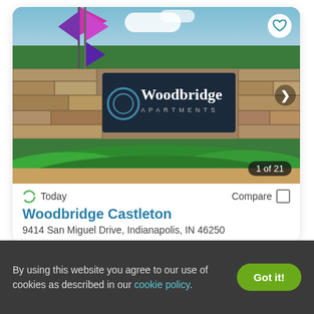[Figure (photo): Exterior photo of Woodbridge Apartments sign on a stone wall with purple/magenta flags and green hedges in the foreground, blue sky with clouds in background. Shows '1 of 21' counter badge and a heart icon.]
Today
Compare
Woodbridge Castleton
9414 San Miguel Drive, Indianapolis, IN 46250
By using this website you agree to our use of cookies as described in our cookie policy.